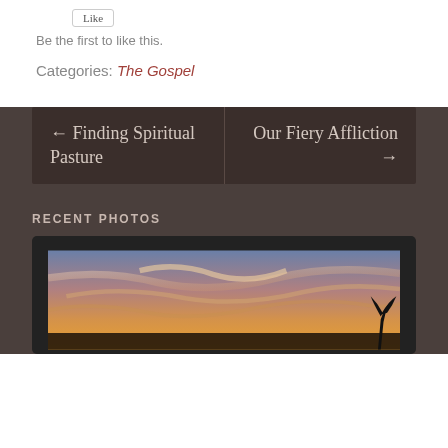[Figure (other): Like button widget (rounded rectangle button)]
Be the first to like this.
Categories: The Gospel
← Finding Spiritual Pasture
Our Fiery Affliction →
RECENT PHOTOS
[Figure (photo): Sunset landscape photo showing an orange and purple sky with wispy clouds, framed inside a dark monitor/frame border]